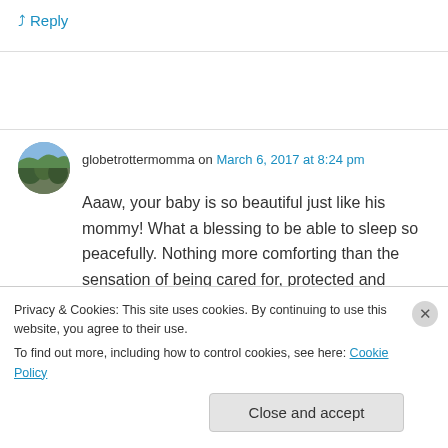↳ Reply
globetrottermomma on March 6, 2017 at 8:24 pm
[Figure (photo): Circular avatar photo showing an outdoor landscape scene with trees or vegetation]
Aaaw, your baby is so beautiful just like his mommy! What a blessing to be able to sleep so peacefully. Nothing more comforting than the sensation of being cared for, protected and
Privacy & Cookies: This site uses cookies. By continuing to use this website, you agree to their use.
To find out more, including how to control cookies, see here: Cookie Policy
Close and accept